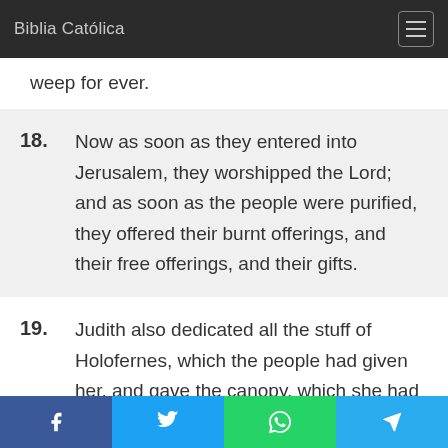Biblia Católica
weep for ever.
18. Now as soon as they entered into Jerusalem, they worshipped the Lord; and as soon as the people were purified, they offered their burnt offerings, and their free offerings, and their gifts.
19. Judith also dedicated all the stuff of Holofernes, which the people had given her, and gave the canopy, which she had taken out of his bedchamber, for a gift
Facebook Twitter WhatsApp Telegram